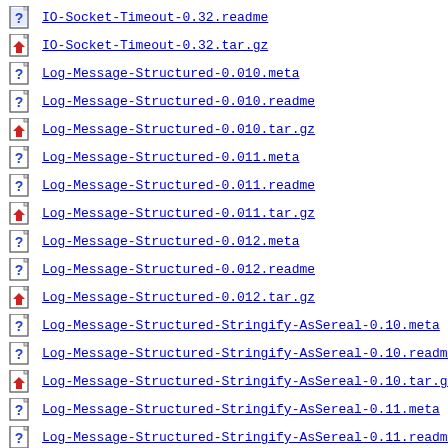IO-Socket-Timeout-0.32.readme
IO-Socket-Timeout-0.32.tar.gz
Log-Message-Structured-0.010.meta
Log-Message-Structured-0.010.readme
Log-Message-Structured-0.010.tar.gz
Log-Message-Structured-0.011.meta
Log-Message-Structured-0.011.readme
Log-Message-Structured-0.011.tar.gz
Log-Message-Structured-0.012.meta
Log-Message-Structured-0.012.readme
Log-Message-Structured-0.012.tar.gz
Log-Message-Structured-Stringify-AsSereal-0.10.meta
Log-Message-Structured-Stringify-AsSereal-0.10.readme
Log-Message-Structured-Stringify-AsSereal-0.10.tar.gz
Log-Message-Structured-Stringify-AsSereal-0.11.meta
Log-Message-Structured-Stringify-AsSereal-0.11.readme
Log-Message-Structured-Stringify-AsSereal-0.11.tar.gz